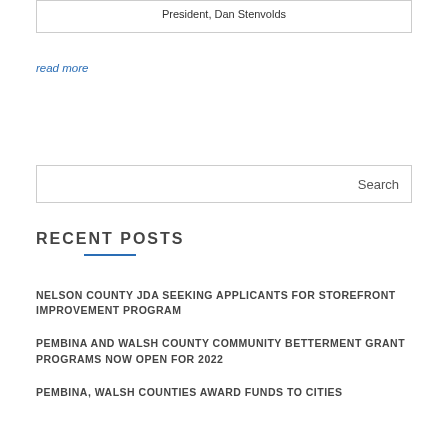President, Dan Stenvolds
read more
Search
RECENT POSTS
NELSON COUNTY JDA SEEKING APPLICANTS FOR STOREFRONT IMPROVEMENT PROGRAM
PEMBINA AND WALSH COUNTY COMMUNITY BETTERMENT GRANT PROGRAMS NOW OPEN FOR 2022
PEMBINA, WALSH COUNTIES AWARD FUNDS TO CITIES